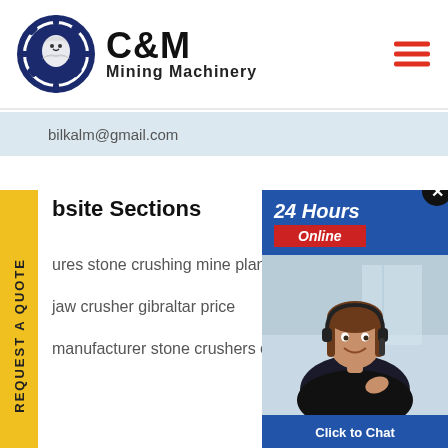[Figure (logo): C&M Mining Machinery logo with eagle gear icon and text]
bilkalm@gmail.com
[Figure (infographic): Yellow vertical REQUEST A QUOTE side tab]
bsite Sections
ures stone crushing mine plant
jaw crusher gibraltar price
manufacturer stone crushers europe
[Figure (infographic): 24 Hours Online chat widget with customer service representative photo and Click to Chat button]